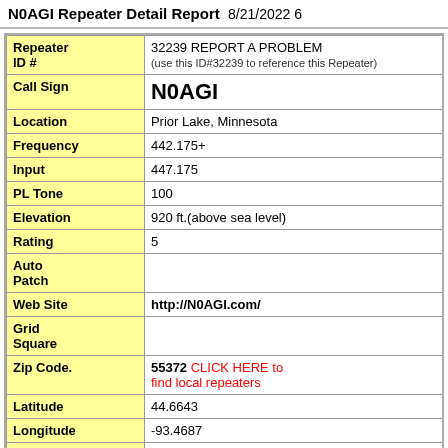N0AGI Repeater Detail Report  8/21/2022 6
| Field | Value |
| --- | --- |
| Repeater ID # | 32239 REPORT A PROBLEM (use this ID#32239 to reference this Repeater) |
| Call Sign | N0AGI |
| Location | Prior Lake, Minnesota |
| Frequency | 442.175+ |
| Input | 447.175 |
| PL Tone | 100 |
| Elevation | 920 ft.(above sea level) |
| Rating | 5 |
| Auto Patch |  |
| Web Site | http://N0AGI.com/ |
| Grid Square |  |
| Zip Code. | 55372 CLICK HERE to find local repeaters |
| Latitude | 44.6643 |
| Longitude | -93.4687 |
| Map | map |
|  | Running YAESU DR-1X repeater and Yaesu... |